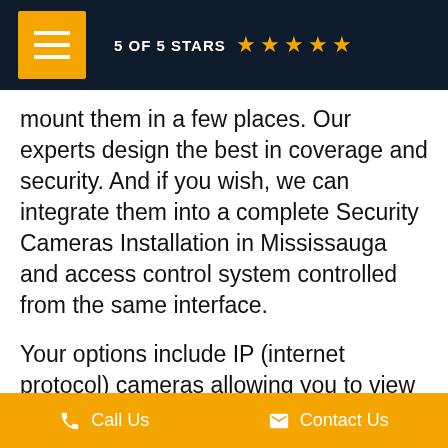[Figure (other): Dark navy header bar with orange menu icon (hamburger) on the left, and '5 OF 5 STARS' text with 5 gold stars on the right]
mount them in a few places. Our experts design the best in coverage and security. And if you wish, we can integrate them into a complete Security Cameras Installation in Mississauga and access control system controlled from the same interface.
Your options include IP (internet protocol) cameras allowing you to view a video on smartphones, tablets, laptops, and many digital TVs, high-definition and night-vision cameras, and control your business from anywhere in
Call Us    Contact Us